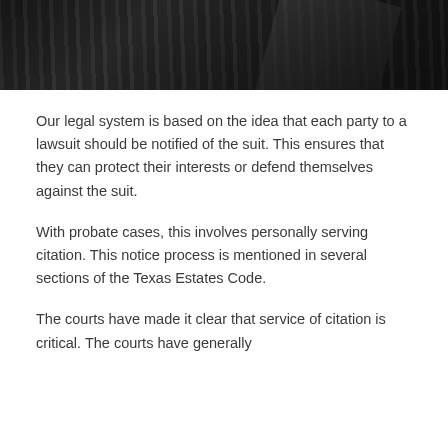[Figure (photo): Dark architectural photo of stone columns or pillars, black and white, shot from below at an angle]
Our legal system is based on the idea that each party to a lawsuit should be notified of the suit. This ensures that they can protect their interests or defend themselves against the suit.
With probate cases, this involves personally serving citation. This notice process is mentioned in several sections of the Texas Estates Code.
The courts have made it clear that service of citation is critical. The courts have generally